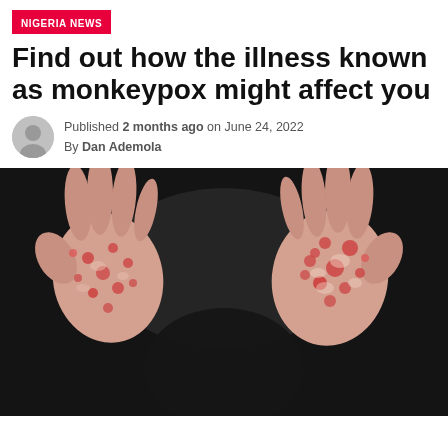NIGERIA NEWS
Find out how the illness known as monkeypox might affect you
Published 2 months ago on June 24, 2022
By Dan Ademola
[Figure (photo): Close-up photo of two hands (palms facing up) covered in monkeypox rash lesions — red, raised, crusty sores scattered across the palms and fingers. Background is dark/black.]